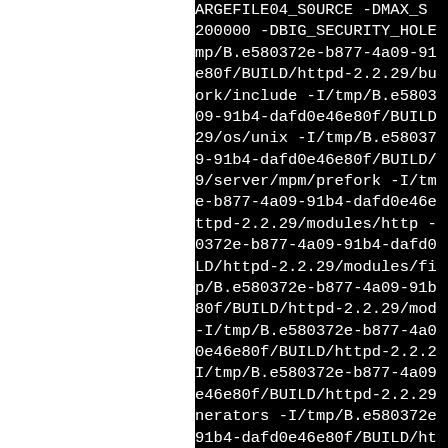[Figure (screenshot): Terminal/build log output showing compiler flags and include paths on a black background with white monospace text. The left portion of the page is white (blank). The right portion shows a dark terminal with compiler invocation fragments including ARGEFILE04_SOURCE, DMAX_S*, DBIG_SECURITY_HOLE*, and numerous -I/tmp/B.e580372e-b877-4a09-91b4-dafd0e46e80f/BUILD/httpd-2.2.29/ include paths for various Apache httpd module directories (build, framework, os/unix, server/mpm/prefork, modules/http, modules/filters, modules/generators, modules/mappers, modules/database).]